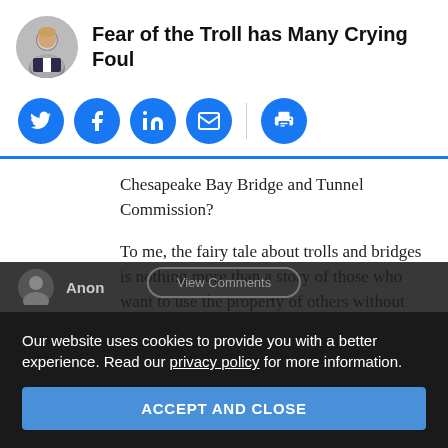Fear of the Troll has Many Crying Foul
[Figure (infographic): Social sharing icons row: Twitter, Facebook, LinkedIn, Email (blue circles), and a print icon separated by a vertical divider]
Chesapeake Bay Bridge and Tunnel Commission?
To me, the fairy tale about trolls and bridges is nothing more than a story of those who want to use the property of others without compensation.
Our website uses cookies to provide you with a better experience. Read our privacy policy for more information.
ACCEPT AND CLOSE